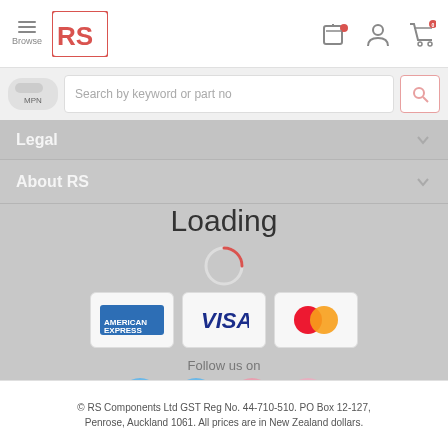Browse / RS Components logo / navigation icons
Search by keyword or part no
Legal
About RS
Loading
[Figure (logo): American Express, Visa, and Mastercard payment icons in white rounded-corner boxes]
Follow us on
[Figure (infographic): Social media icons: Twitter (blue), LinkedIn (blue), YouTube (pink-red), Instagram (pink)]
© RS Components Ltd GST Reg No. 44-710-510. PO Box 12-127, Penrose, Auckland 1061. All prices are in New Zealand dollars.